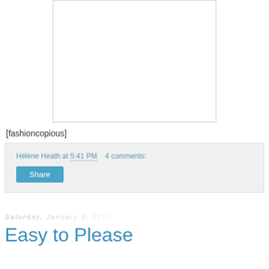[Figure (photo): White rectangular image placeholder with light gray border, mostly blank/white content area]
[fashioncopious]
Hélène Heath at 5:41 PM    4 comments:
Share
Saturday, January 8, 2011
Easy to Please